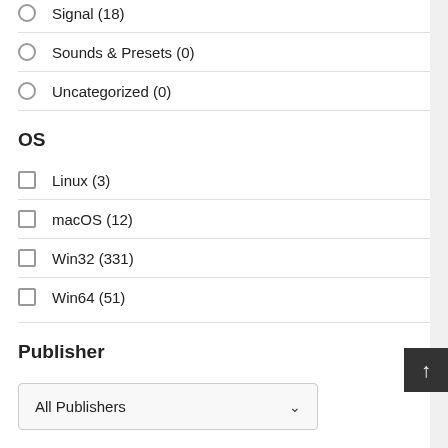Signal (18)
Sounds & Presets (0)
Uncategorized (0)
OS
Linux (3)
macOS (12)
Win32 (331)
Win64 (51)
Publisher
All Publishers
License type